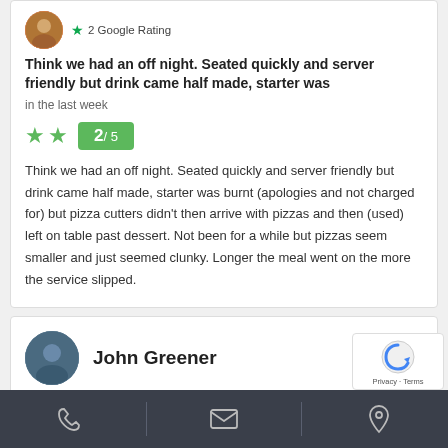[Figure (photo): Circular avatar photo of reviewer with orange/brown tones]
2 Google Rating
Think we had an off night. Seated quickly and server friendly but drink came half made, starter was
in the last week
★★  2/5
Think we had an off night. Seated quickly and server friendly but drink came half made, starter was burnt (apologies and not charged for) but pizza cutters didn't then arrive with pizzas and then (used) left on table past dessert. Not been for a while but pizzas seem smaller and just seemed clunky. Longer the meal went on the more the service slipped.
[Figure (photo): Circular avatar photo of John Greener]
John Greener